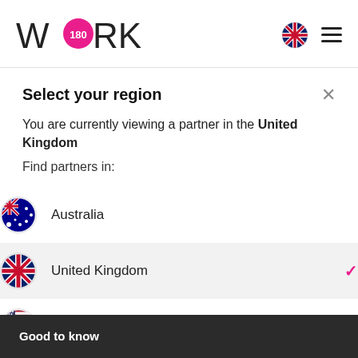[Figure (logo): Work180 logo with pink circle containing '180' and stylized W and RK letters]
Select your region
You are currently viewing a partner in the United Kingdom
Find partners in:
Australia
United Kingdom (selected)
United States
Good to know